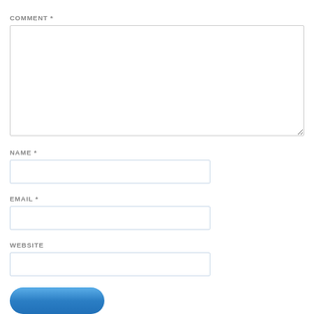COMMENT *
NAME *
EMAIL *
WEBSITE